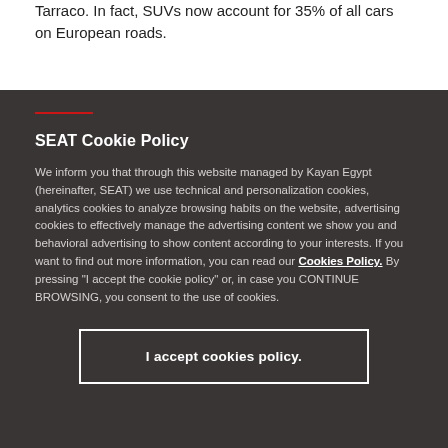Tarraco. In fact, SUVs now account for 35% of all cars on European roads.
SEAT Cookie Policy
We inform you that through this website managed by Kayan Egypt (hereinafter, SEAT) we use technical and personalization cookies, analytics cookies to analyze browsing habits on the website, advertising cookies to effectively manage the advertising content we show you and behavioral advertising to show content according to your interests. If you want to find out more information, you can read our Cookies Policy. By pressing "I accept the cookie policy" or, in case you CONTINUE BROWSING, you consent to the use of cookies.
I accept cookies policy.